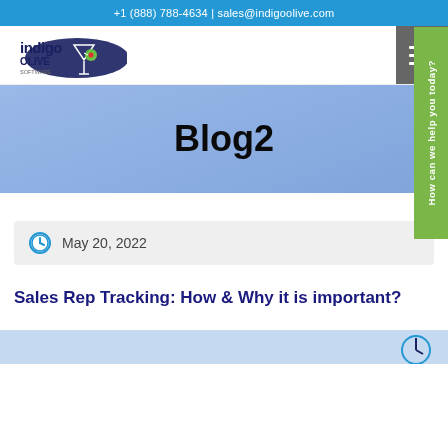+1 (888) 788-4634 | sales@indigoolive.com
[Figure (logo): Indigo Olive Software logo — stylized text 'indigo OLIVE SOFTWARE' with a martini glass and olive graphic in navy and green]
Blog2
May 20, 2022
Sales Rep Tracking: How & Why it is important?